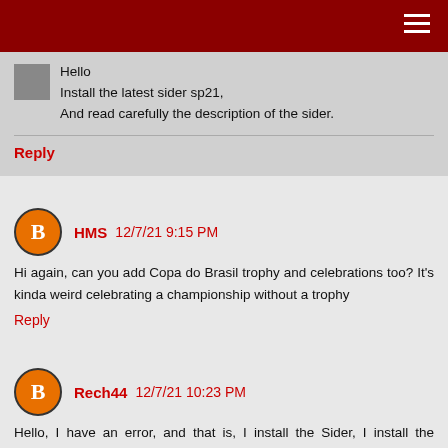Hello
Install the latest sider sp21,
And read carefully the description of the sider.
Reply
HMS 12/7/21 9:15 PM
Hi again, can you add Copa do Brasil trophy and celebrations too? It's kinda weird celebrating a championship without a trophy
Reply
Rech44 12/7/21 10:23 PM
Hello, I have an error, and that is, I install the Sider, I install the Cinematic but inside the game when trying to change the cinematics it does not appear on the console.